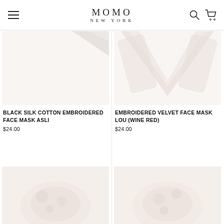MOMO NEW YORK
[Figure (photo): Product image area for Black Silk Cotton Embroidered Face Mask Asli - white/cream background with fabric visible at top]
BLACK SILK COTTON EMBROIDERED FACE MASK ASLI
$24.00
[Figure (photo): Product image for Embroidered Velvet Face Mask Lou (Wine Red) - cream/blush colored V-shaped fabric on white background]
EMBROIDERED VELVET FACE MASK LOU (WINE RED)
$24.00
[Figure (photo): Bottom-left product image - partially visible, blush/pink embroidered fabric]
[Figure (photo): Bottom-right product image - partially visible, blush/pink fabric]